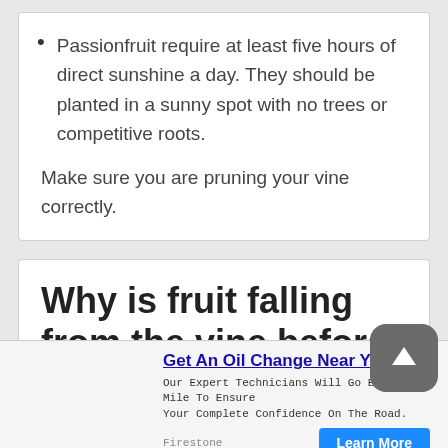Passionfruit require at least five hours of direct sunshine a day. They should be planted in a sunny spot with no trees or competitive roots.
Make sure you are pruning your vine correctly.
Why is fruit falling from the vine before it is mature?
Get An Oil Change Near You
Our Expert Technicians Will Go Extra Mile To Ensure Your Complete Confidence On The Road.
Firestone
Learn More